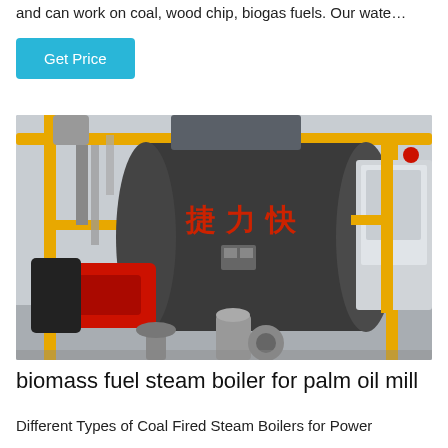and can work on coal, wood chip, biogas fuels. Our wate…
Get Price
[Figure (photo): Industrial steam boiler with Chinese characters on the cylinder, red burner attached on the left side, yellow safety railings, pipes, and a grey control cabinet on the right side, inside an industrial facility.]
biomass fuel steam boiler for palm oil mill
Different Types of Coal Fired Steam Boilers for Power